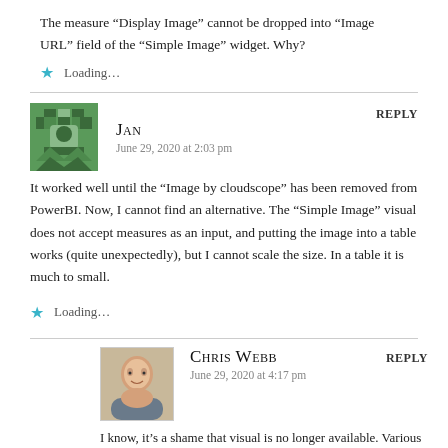The measure “Display Image” cannot be dropped into “Image URL” field of the “Simple Image” widget. Why?
Loading…
JAN says:
June 29, 2020 at 2:03 pm
REPLY
It worked well until the “Image by cloudscope” has been removed from PowerBI. Now, I cannot find an alternative. The “Simple Image” visual does not accept measures as an input, and putting the image into a table works (quite unexpectedly), but I cannot scale the size. In a table it is much to small.
Loading…
Chris Webb says:
June 29, 2020 at 4:17 pm
REPLY
I know, it’s a shame that visual is no longer available. Various alternative visuals are being worked on…